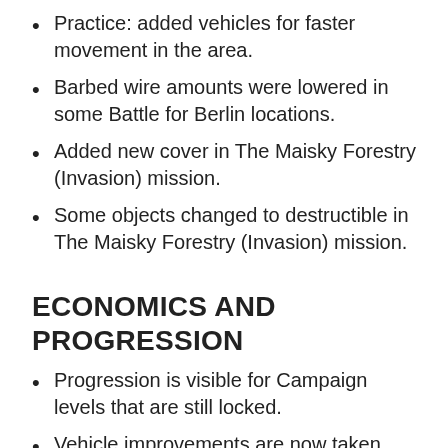Practice: added vehicles for faster movement in the area.
Barbed wire amounts were lowered in some Battle for Berlin locations.
Added new cover in The Maisky Forestry (Invasion) mission.
Some objects changed to destructible in The Maisky Forestry (Invasion) mission.
ECONOMICS AND PROGRESSION
Progression is visible for Campaign levels that are still locked.
Vehicle improvements are now taken into consideration in the overview window.